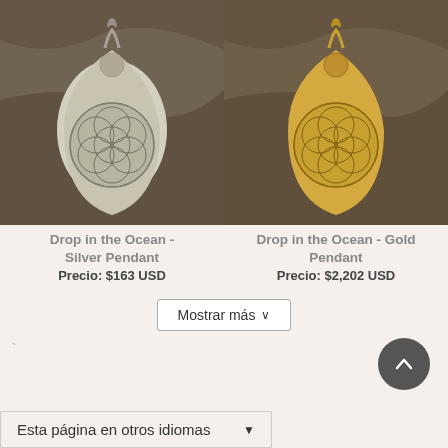[Figure (photo): Silver teardrop-shaped pendant with flower of life pattern, photographed against dark wood background]
[Figure (photo): Gold teardrop-shaped pendant with flower of life pattern, photographed against dark wood background]
Drop in the Ocean - Silver Pendant
Precio: $163 USD
Drop in the Ocean - Gold Pendant
Precio: $2,202 USD
Mostrar más ∨
`
Esta página en otros idiomas ▼